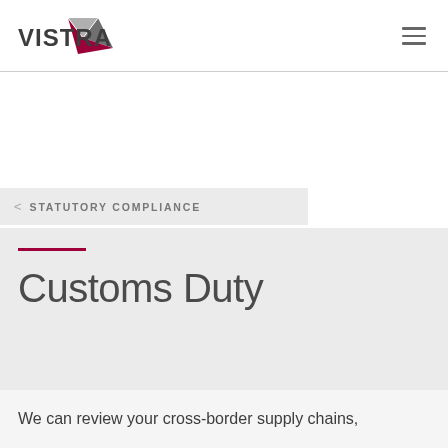[Figure (logo): Vistra logo with grey and dark-red arrow/triangle icon and bold 'VISTRA' text]
< STATUTORY COMPLIANCE
Customs Duty
We can review your cross-border supply chains,